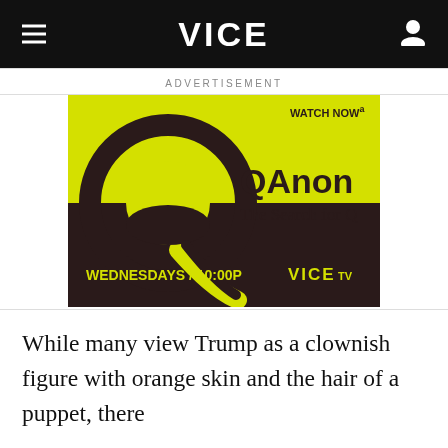VICE
ADVERTISEMENT
[Figure (screenshot): QAnon: The Search for Q — VICE TV advertisement. Yellow and dark brown background with large stylized Q logo. Text: WATCH NOW, QAnon, The Search for Q, WEDNESDAYS / 10:00P, VICE TV]
While many view Trump as a clownish figure with orange skin and the hair of a puppet, there